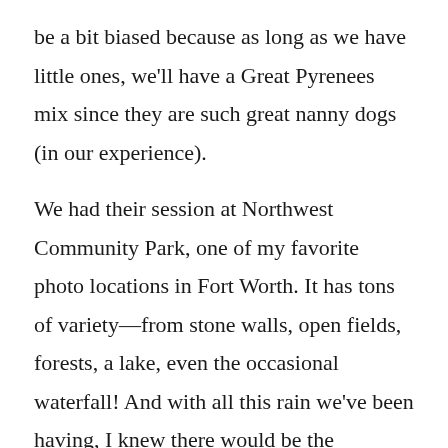be a bit biased because as long as we have little ones, we'll have a Great Pyrenees mix since they are such great nanny dogs (in our experience).

We had their session at Northwest Community Park, one of my favorite photo locations in Fort Worth. It has tons of variety—from stone walls, open fields, forests, a lake, even the occasional waterfall! And with all this rain we've been having, I knew there would be the possibility for some portraits in the water; thankfully Shana was game to wade in and we were able to get some sunset glowing through the clouds in her